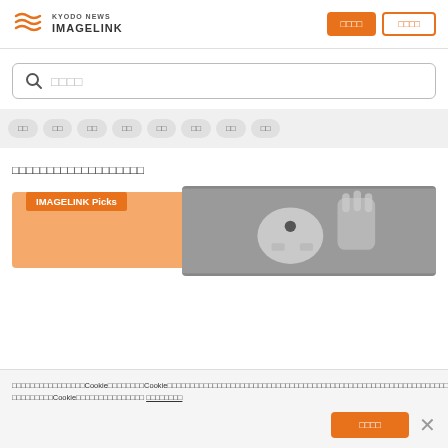[Figure (logo): Kyodo News IMAGELINK logo with orange wave icon]
□□□□ (button)
□□□□ (button outlined)
Search placeholder: □□□□
□□
□□
□□
□□
□□
□□
□□
□□
□□□□□□□□□□□□□□□□□□□
[Figure (photo): IMAGELINK Picks banner with robot mascot image]
□□□□□□□□□□□□□Cookie□□□□□□□□Cookie□□□□□□□□□□□□□□□□□□□□□□□□□□□□□□□□□□□□□□□□□□□□□□Cookie□□□□□□□□□□□□□□□□ □□□□□□□□